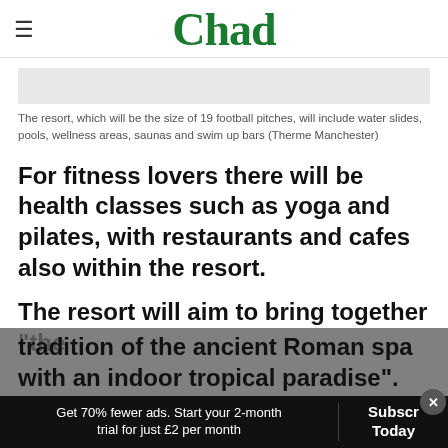Chad
[Figure (other): Image placeholder bar (light grey rectangle representing a photo of Therme Manchester resort)]
The resort, which will be the size of 19 football pitches, will include water slides, pools, wellness areas, saunas and swim up bars (Therme Manchester)
For fitness lovers there will be health classes such as yoga and pilates, with restaurants and cafes also within the resort.
The resort will aim to bring together "the tradition of the ancient Roman spa with an indoor tropical paradise".
Get 70% fewer ads. Start your 2-month trial for just £2 per month
Subscribe Today